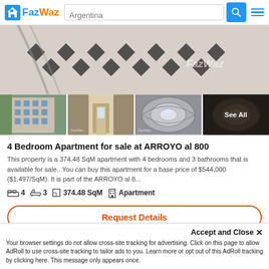FazWaz | Argentina
[Figure (photo): Photo grid showing apartment property: main image of ornate tiled hallway floor, and four thumbnails: building exterior, corridor, circular staircase, and another staircase with 'See All' overlay]
4 Bedroom Apartment for sale at ARROYO al 800
This property is a 374.48 SqM apartment with 4 bedrooms and 3 bathrooms that is available for sale.. You can buy this apartment for a base price of $544,000 ($1,497/SqM). It is part of the ARROYO al 8...
4  3  374.48 SqM  Apartment
Request Details
Accept and Close ×
Your browser settings do not allow cross-site tracking for advertising. Click on this page to allow AdRoll to use cross-site tracking to tailor ads to you. Learn more or opt out of this AdRoll tracking by clicking here. This message only appears once.